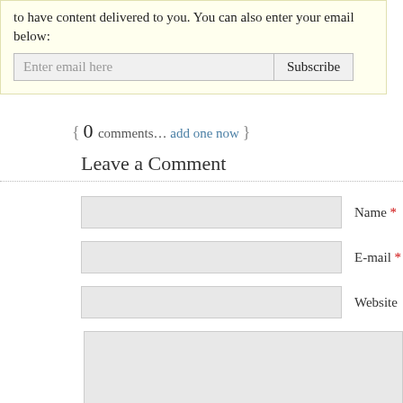to have content delivered to you. You can also enter your email below:
Enter email here  Subscribe
{ 0 comments… add one now }
Leave a Comment
Name *
E-mail *
Website